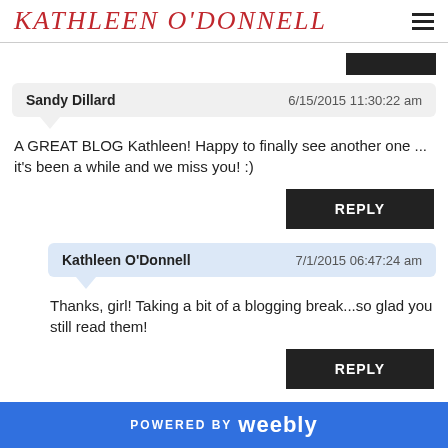KATHLEEN O'DONNELL
Sandy Dillard   6/15/2015 11:30:22 am
A GREAT BLOG Kathleen! Happy to finally see another one ... it's been a while and we miss you! :)
REPLY
Kathleen O'Donnell   7/1/2015 06:47:24 am
Thanks, girl! Taking a bit of a blogging break...so glad you still read them!
REPLY
POWERED BY weebly